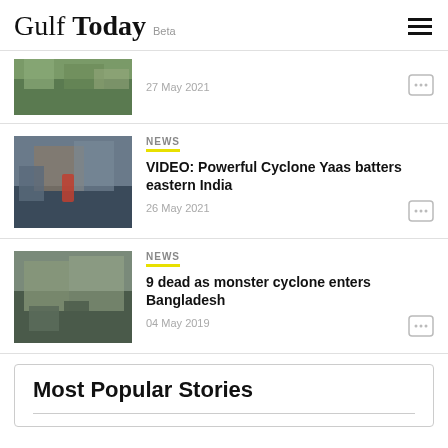Gulf Today Beta
[Figure (photo): Partial news article thumbnail, top of page, showing vegetation/flood scene, dated 27 May 2021]
[Figure (photo): Person in red dress standing amid cyclone wreckage/fallen structures near water, for Cyclone Yaas story]
NEWS
VIDEO: Powerful Cyclone Yaas batters eastern India
26 May 2021
[Figure (photo): Cyclone debris and flooded street scene for Bangladesh cyclone story]
NEWS
9 dead as monster cyclone enters Bangladesh
04 May 2019
Most Popular Stories